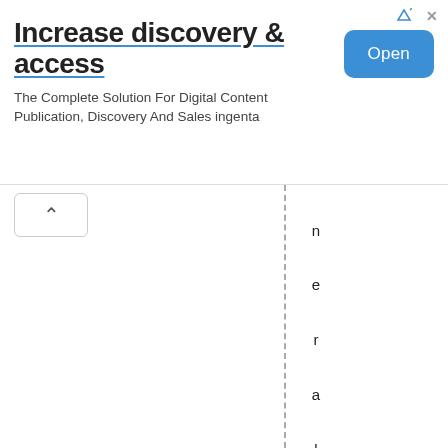[Figure (other): Advertisement banner: 'Increase discovery & access' - The Complete Solution For Digital Content Publication, Discovery And Sales ingenta. With an 'Open' button in blue.]
neralSteveMarshallhadbeee